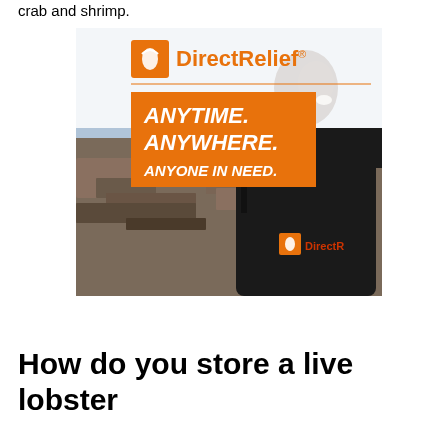crab and shrimp.
[Figure (photo): Direct Relief advertisement photo showing a person from behind wearing a black jacket with the Direct Relief logo, overlooking a disaster debris field. Text overlay reads: ANYTIME. ANYWHERE. ANYONE IN NEED.]
How do you store a live lobster